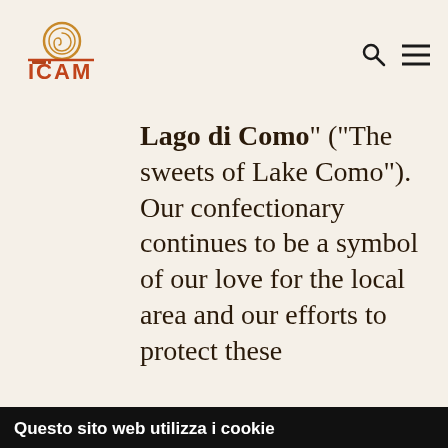[Figure (logo): ICAM chocolate company logo with circular amber emblem above red-brown stylized 'ICAM' text]
Lago di Como" ("The sweets of Lake Como"). Our confectionary continues to be a symbol of our love for the local area and our efforts to protect these
Questo sito web utilizza i cookie
Questo sito utilizza cookie di profilazione, anche di terze parti, per inviarti messaggi pubblicitari mirati e servizi in linea con le tue preferenze. Se vuoi saperne di più o negare il consenso a tutti o ad alcuni cookie clicca qui. Il consenso può essere espresso cliccando "Accetta tutti i cookie".
Accetta tutti i cookie
Acconsenti ai selezionati
Usa solo i cookie necessari
Necessario  Preferenze  Statistiche  Marketing  Mostra dettagli